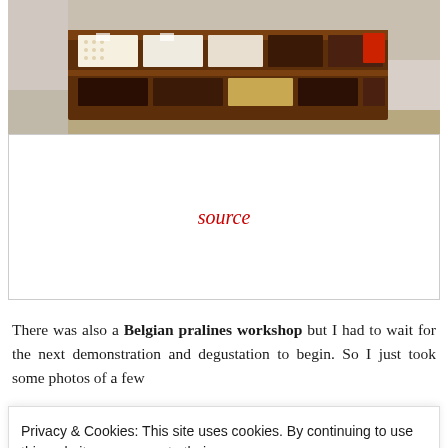[Figure (photo): Photo of a chocolate shop interior showing rows of pralines and chocolates arranged on shelves with brown wooden display units]
source
There was also a Belgian pralines workshop but I had to wait for the next demonstration and degustation to begin. So I just took some photos of a few
Privacy & Cookies: This site uses cookies. By continuing to use this website, you agree to their use.
To find out more, including how to control cookies, see here: Cookie Policy
CLOSE AND ACCEPT
were a few people at the museum waiting for the